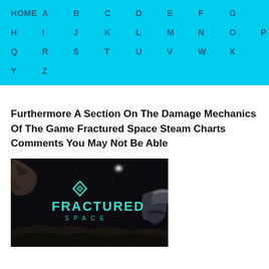HOME  A  B  C  D  E  F  G  H  I  J  K  L  M  N  O  P  Q  R  S  T  U  V  W  X  Y  Z
Furthermore A Section On The Damage Mechanics Of The Game Fractured Space Steam Charts Comments You May Not Be Able
[Figure (photo): Game cover image for Fractured Space showing a dark space scene with the FRACTURED SPACE logo in teal/cyan text with a geometric diamond logo, spacecraft visible on right, rocky asteroid-like terrain in background]